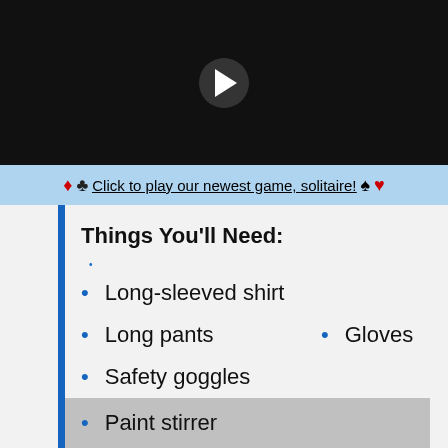[Figure (screenshot): Video player with black background and white play button triangle]
Brought to you by Sciencing
♦ ♣ Click to play our newest game, solitaire! ♠ ♥
Things You'll Need:
Long-sleeved shirt
Long pants
Gloves
Safety goggles
Dust mask
Garden sprayer
Paint stirrer